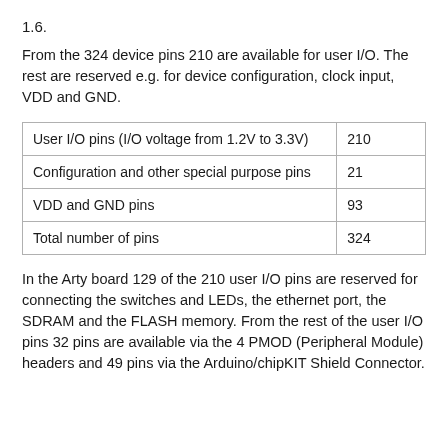1.6.
From the 324 device pins 210 are available for user I/O. The rest are reserved e.g. for device configuration, clock input, VDD and GND.
| User I/O pins (I/O voltage from 1.2V to 3.3V) | 210 |
| Configuration and other special purpose pins | 21 |
| VDD and GND pins | 93 |
| Total number of pins | 324 |
In the Arty board 129 of the 210 user I/O pins are reserved for connecting the switches and LEDs, the ethernet port, the SDRAM and the FLASH memory. From the rest of the user I/O pins 32 pins are available via the 4 PMOD (Peripheral Module) headers and 49 pins via the Arduino/chipKIT Shield Connector.